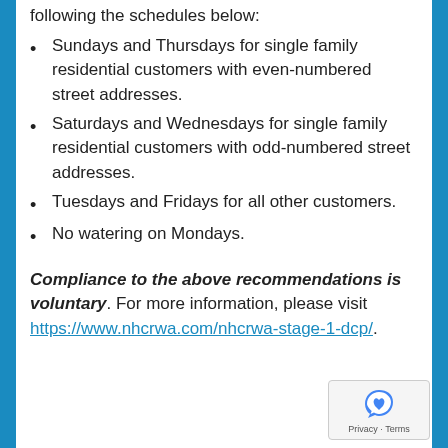following the schedules below:
Sundays and Thursdays for single family residential customers with even-numbered street addresses.
Saturdays and Wednesdays for single family residential customers with odd-numbered street addresses.
Tuesdays and Fridays for all other customers.
No watering on Mondays.
Compliance to the above recommendations is voluntary. For more information, please visit https://www.nhcrwa.com/nhcrwa-stage-1-dcp/.